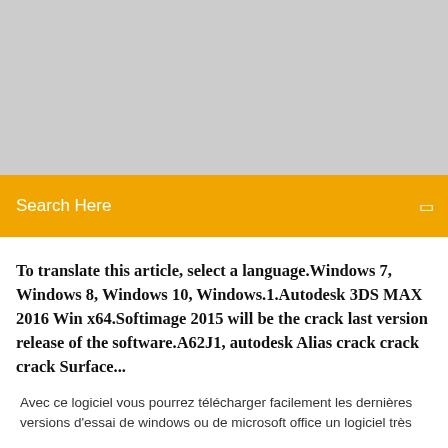[Figure (other): Gray banner placeholder image area at the top of the page]
Search Here
To translate this article, select a language.Windows 7, Windows 8, Windows 10, Windows.1.Autodesk 3DS MAX 2016 Win x64.Softimage 2015 will be the crack last version release of the software.A62J1, autodesk Alias crack crack crack Surface...
Avec ce logiciel vous pourrez télécharger facilement les dernières versions d'essai de windows ou de microsoft office un logiciel très